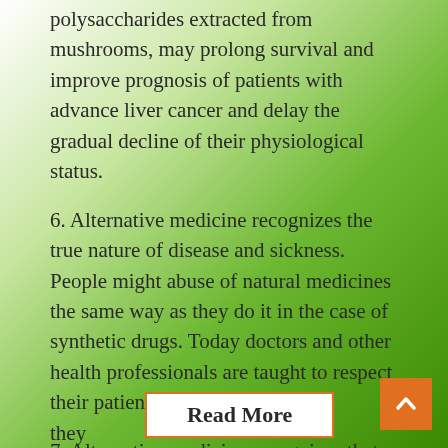polysaccharides extracted from mushrooms, may prolong survival and improve prognosis of patients with advance liver cancer and delay the gradual decline of their physiological status.
6. Alternative medicine recognizes the true nature of disease and sickness. People might abuse of natural medicines the same way as they do it in the case of synthetic drugs. Today doctors and other health professionals are taught to respect their patients and their opinions.
7. Alternative medicine recognizes that physical symptoms only develop when you ignore the mental and emotional signs and symptoms. In complementary medical treatment, medical professors allow alternative practices as long as
they
Read More